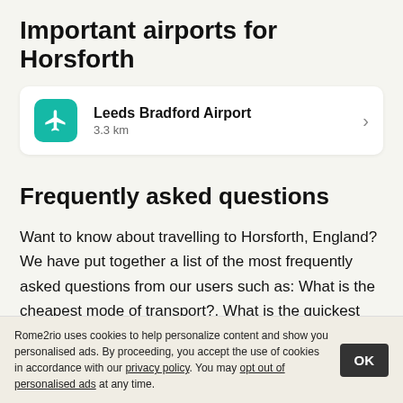Important airports for Horsforth
[Figure (infographic): Airport listing card showing Leeds Bradford Airport at 3.3 km distance, with a teal airplane icon and a right arrow]
Frequently asked questions
Want to know about travelling to Horsforth, England? We have put together a list of the most frequently asked questions from our users such as: What is the cheapest mode of transport?. What is the quickest option?. How
Rome2rio uses cookies to help personalize content and show you personalised ads. By proceeding, you accept the use of cookies in accordance with our privacy policy. You may opt out of personalised ads at any time.